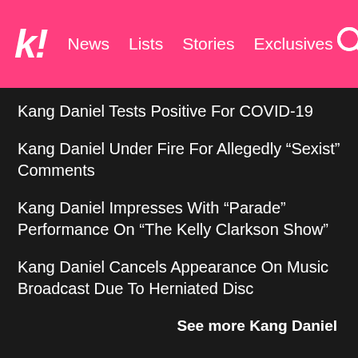k! News Lists Stories Exclusives
Kang Daniel Tests Positive For COVID-19
Kang Daniel Under Fire For Allegedly “Sexist” Comments
Kang Daniel Impresses With “Parade” Performance On “The Kelly Clarkson Show”
Kang Daniel Cancels Appearance On Music Broadcast Due To Herniated Disc
See more Kang Daniel
Share This Post
Facebook
Twitter